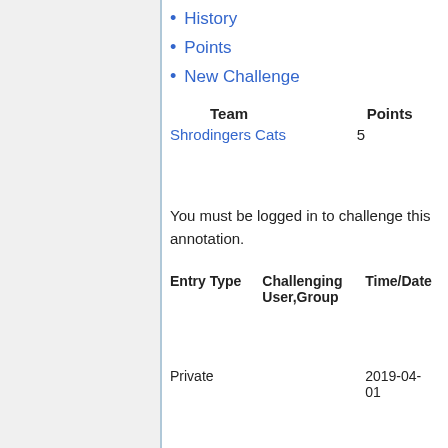History
Points
New Challenge
| Team | Points |
| --- | --- |
| Shrodingers Cats | 5 |
You must be logged in to challenge this annotation.
| Entry Type | Challenging User,Group | Time/Date |
| --- | --- | --- |
| Private |  | 2019-04-01 |